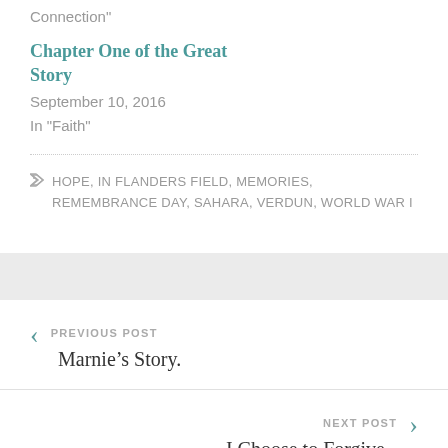Connection"
Chapter One of the Great Story
September 10, 2016
In "Faith"
HOPE, IN FLANDERS FIELD, MEMORIES, REMEMBRANCE DAY, SAHARA, VERDUN, WORLD WAR I
PREVIOUS POST
Marnie's Story.
NEXT POST
I Choose to Forgive.